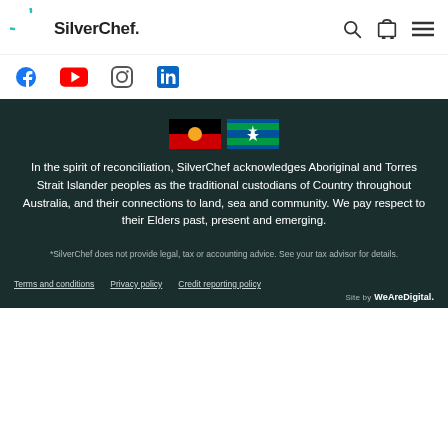[Figure (logo): SilverChef logo with teal circle arc and bold text]
[Figure (infographic): Social media icons: Facebook, YouTube, Instagram, LinkedIn]
[Figure (illustration): Aboriginal flag (black top half, red bottom half, yellow circle) and Torres Strait Islander flag (green with blue stripes and white symbol)]
In the spirit of reconciliation, SilverChef acknowledges Aboriginal and Torres Strait Islander peoples as the traditional custodians of Country throughout Australia, and their connections to land, sea and community. We pay respect to their Elders past, present and emerging.
*SilverChef does not provide legal, tax or accounting advice. See your tax advisor for details.
Terms and conditions   Privacy policy   Credit reporting policy   Site by WeAreDigital.